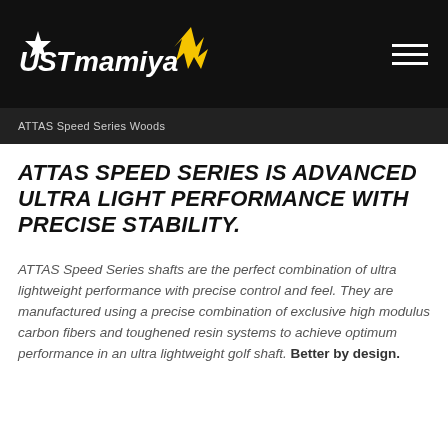[Figure (logo): UST Mamiya logo with star and yellow lightning bolt on dark background]
ATTAS Speed Series Woods
ATTAS SPEED SERIES IS ADVANCED ULTRA LIGHT PERFORMANCE WITH PRECISE STABILITY.
ATTAS Speed Series shafts are the perfect combination of ultra lightweight performance with precise control and feel. They are manufactured using a precise combination of exclusive high modulus carbon fibers and toughened resin systems to achieve optimum performance in an ultra lightweight golf shaft. Better by design.